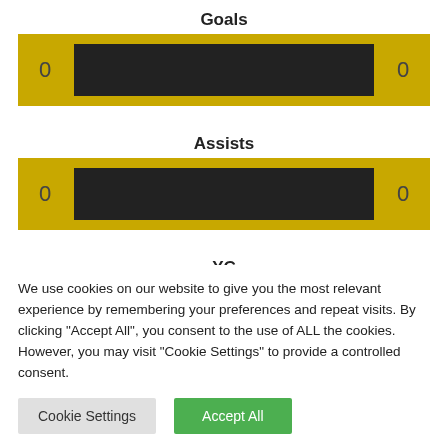Goals
[Figure (infographic): Goals stat bar with 0 on left and 0 on right, black bar in center on gold background]
Assists
[Figure (infographic): Assists stat bar with 0 on left and 0 on right, black bar in center on gold background]
YC
[Figure (infographic): YC stat bar partially visible, black bar in center on gold background]
We use cookies on our website to give you the most relevant experience by remembering your preferences and repeat visits. By clicking “Accept All”, you consent to the use of ALL the cookies. However, you may visit "Cookie Settings" to provide a controlled consent.
Cookie Settings  Accept All